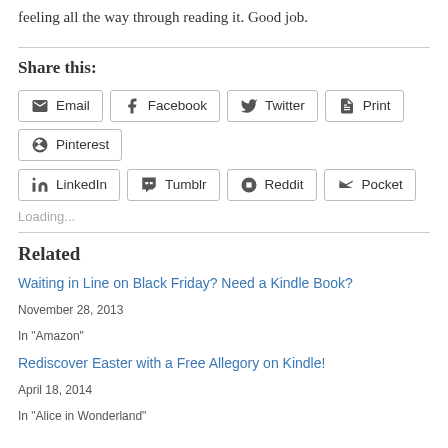feeling all the way through reading it. Good job.
Share this:
Email | Facebook | Twitter | Print | Pinterest | LinkedIn | Tumblr | Reddit | Pocket
Loading...
Related
Waiting in Line on Black Friday? Need a Kindle Book?
November 28, 2013
In "Amazon"
Rediscover Easter with a Free Allegory on Kindle!
April 18, 2014
In "Alice in Wonderland"